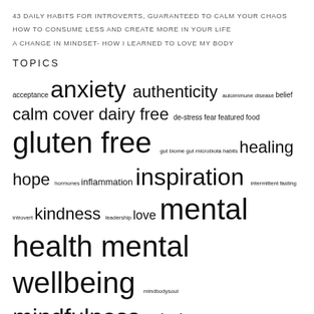43 DAILY HABITS FOR INTROVERTS, GUARANTEED TO CALM YOUR CHAOS
HOW TO CONSUME LESS AND CREATE MORE IN YOUR LIFE
A CHANGE IN MINDSET- HOW I LEARNED TO LOVE MY BODY
TOPICS
acceptance anxiety authenticity autoimmune disease belief calm cover dairy free de-stress fear featured food gluten free gut biome gut microbiota habits healing hope hormones inflammation inspiration intermittent fasting introvert kindness leadership love mental health mental wellbeing mindbodysoul mindfulness mindset nutrition over40 power pre biotic foods recipes refined sugar free self awareness selfcare self